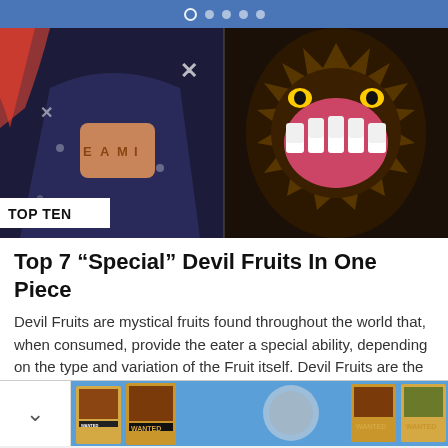● ● ● ●
[Figure (illustration): Two anime characters side by side: left shows a character with 'EAMI' on knuckles in a dark coat, right shows a large creature with an open mouth full of teeth on a dark background. A 'TOP TEN' label overlays the bottom-left of the image.]
Top 7 “Special” Devil Fruits In One Piece
Devil Fruits are mystical fruits found throughout the world that, when consumed, provide the eater a special ability, depending on the type and variation of the Fruit itself. Devil Fruits are the origins of the powers of some of the strongest people…
[Figure (illustration): A horizontal strip showing anime characters with WANTED posters on a blue background, partially visible at the bottom of the page.]